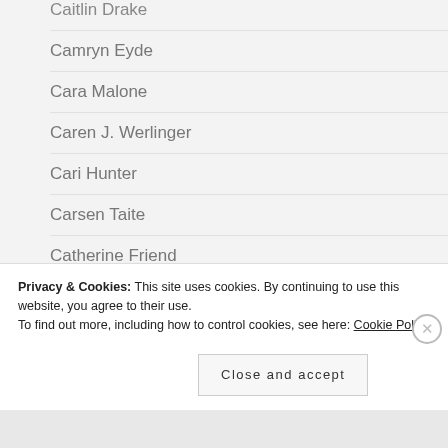Caitlin Drake
Camryn Eyde
Cara Malone
Caren J. Werlinger
Cari Hunter
Carsen Taite
Catherine Friend
Catherine Lane
Charley Clarke
Privacy & Cookies: This site uses cookies. By continuing to use this website, you agree to their use.
To find out more, including how to control cookies, see here: Cookie Policy
Close and accept